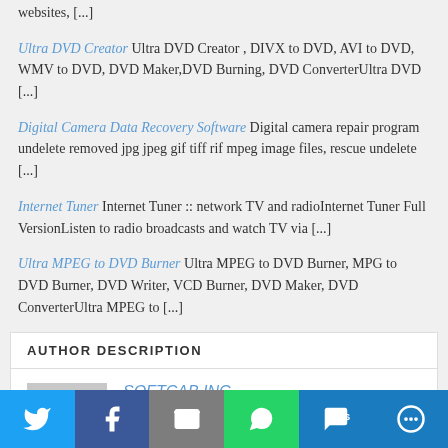websites, [...]
Ultra DVD Creator Ultra DVD Creator , DIVX to DVD, AVI to DVD, WMV to DVD, DVD Maker,DVD Burning, DVD ConverterUltra DVD [...]
Digital Camera Data Recovery Software Digital camera repair program undelete removed jpg jpeg gif tiff rif mpeg image files, rescue undelete [...]
Internet Tuner Internet Tuner :: network TV and radioInternet Tuner Full VersionListen to radio broadcasts and watch TV via [...]
Ultra MPEG to DVD Burner Ultra MPEG to DVD Burner, MPG to DVD Burner, DVD Writer, VCD Burner, DVD Maker, DVD ConverterUltra MPEG to [...]
AUTHOR DESCRIPTION
SOFTCAB INC